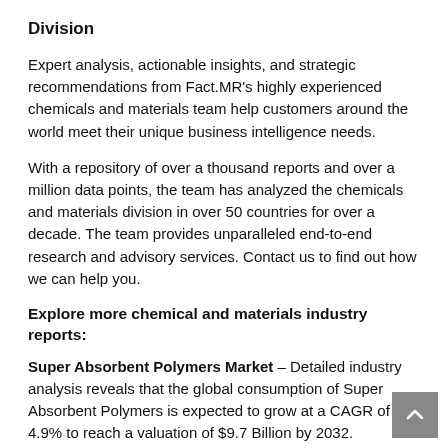Division
Expert analysis, actionable insights, and strategic recommendations from Fact.MR's highly experienced chemicals and materials team help customers around the world meet their unique business intelligence needs.
With a repository of over a thousand reports and over a million data points, the team has analyzed the chemicals and materials division in over 50 countries for over a decade. The team provides unparalleled end-to-end research and advisory services. Contact us to find out how we can help you.
Explore more chemical and materials industry reports:
Super Absorbent Polymers Market – Detailed industry analysis reveals that the global consumption of Super Absorbent Polymers is expected to grow at a CAGR of 4.9% to reach a valuation of $9.7 Billion by 2032.